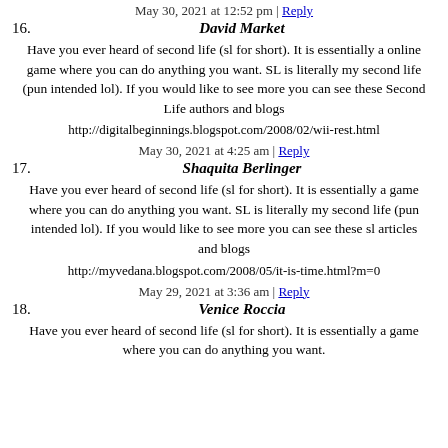May 30, 2021 at 12:52 pm | Reply
16. David Market
Have you ever heard of second life (sl for short). It is essentially a online game where you can do anything you want. SL is literally my second life (pun intended lol). If you would like to see more you can see these Second Life authors and blogs
http://digitalbeginnings.blogspot.com/2008/02/wii-rest.html
May 30, 2021 at 4:25 am | Reply
17. Shaquita Berlinger
Have you ever heard of second life (sl for short). It is essentially a game where you can do anything you want. SL is literally my second life (pun intended lol). If you would like to see more you can see these sl articles and blogs
http://myvedana.blogspot.com/2008/05/it-is-time.html?m=0
May 29, 2021 at 3:36 am | Reply
18. Venice Roccia
Have you ever heard of second life (sl for short). It is essentially a game where you can do anything you want.